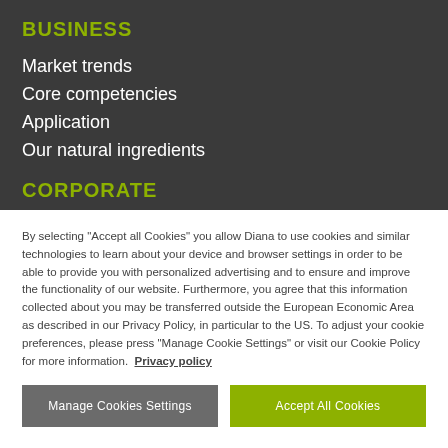BUSINESS
Market trends
Core competencies
Application
Our natural ingredients
CORPORATE
By selecting "Accept all Cookies" you allow Diana to use cookies and similar technologies to learn about your device and browser settings in order to be able to provide you with personalized advertising and to ensure and improve the functionality of our website. Furthermore, you agree that this information collected about you may be transferred outside the European Economic Area as described in our Privacy Policy, in particular to the US. To adjust your cookie preferences, please press "Manage Cookie Settings" or visit our Cookie Policy for more information. Privacy policy